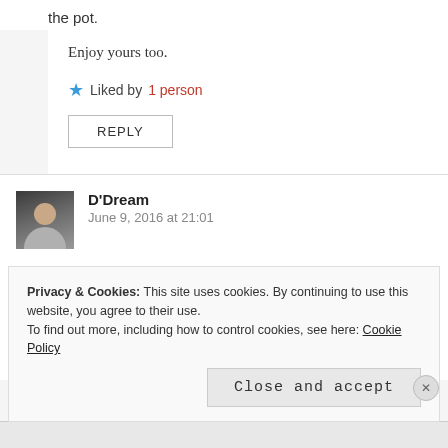the pot.
Enjoy yours too.
★ Liked by 1 person
REPLY
D'Dream
June 9, 2016 at 21:01
Oh my! That Ogi situation is so aptly described so much I could remember the many times I have been a victim of absentmindly concorting a sacrifice for the gods.
Privacy & Cookies: This site uses cookies. By continuing to use this website, you agree to their use.
To find out more, including how to control cookies, see here: Cookie Policy
Close and accept